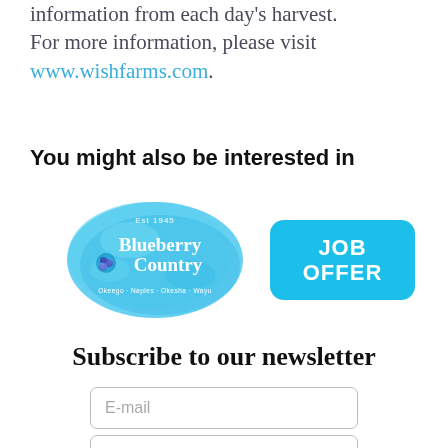information from each day's harvest. For more information, please visit www.wishfarms.com.
You might also be interested in
[Figure (logo): Blueberry Country oval blue watercolor logo with blueberry icon and text: 'Blueberry Country, Okeego · Naples · Okesha · Wayu']
[Figure (logo): Cyan rounded rectangle button with bold white text: 'JOB OFFER']
Subscribe to our newsletter
E-mail
First Name